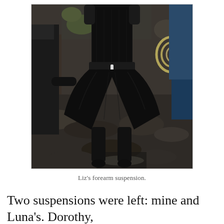[Figure (photo): A person suspended upside down by their forearms over a rocky, wet outdoor setting. The person is wearing all black clothing including a top and baggy shorts. Other people are visible at the edges of the frame and a coiled rope is visible in the upper right.]
Liz's forearm suspension.
Two suspensions were left: mine and Luna's. Dorothy,